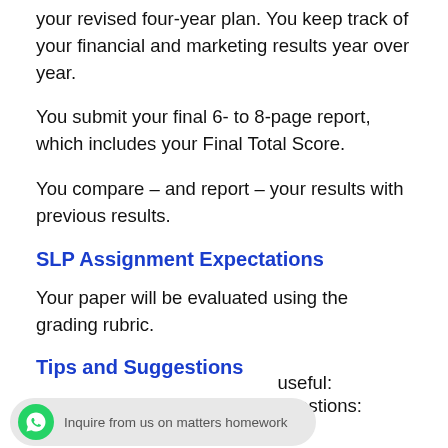your revised four-year plan. You keep track of your financial and marketing results year over year.
You submit your final 6- to 8-page report, which includes your Final Total Score.
You compare – and report – your results with previous results.
SLP Assignment Expectations
Your paper will be evaluated using the grading rubric.
Tips and Suggestions
Note the following tips and suggestions:
useful: